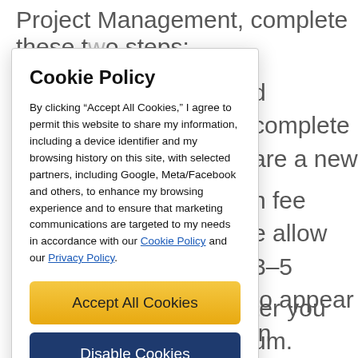Project Management, complete these two steps:
d complete are a new
n fee e allow 3–5 to appear in
ter you um.
u pay the e Project
Cookie Policy
By clicking “Accept All Cookies,” I agree to permit this website to share my information, including a device identifier and my browsing history on this site, with selected partners, including Google, Meta/Facebook and others, to enhance my browsing experience and to ensure that marketing communications are targeted to my needs in accordance with our Cookie Policy and our Privacy Policy.
Accept All Cookies
Disable Cookies